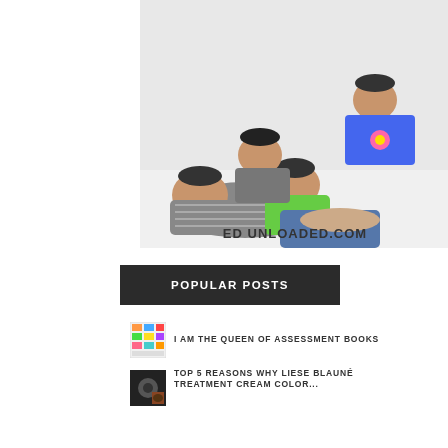[Figure (photo): Family photo with a father lying on the floor and three children piled on top of him, all laughing and smiling. White background. Watermark text 'ED UNLOADED.COM' in bottom right corner.]
POPULAR POSTS
I AM THE QUEEN OF ASSESSMENT BOOKS
TOP 5 REASONS WHY LIESE BLAUNÉ TREATMENT CREAM COLOR...